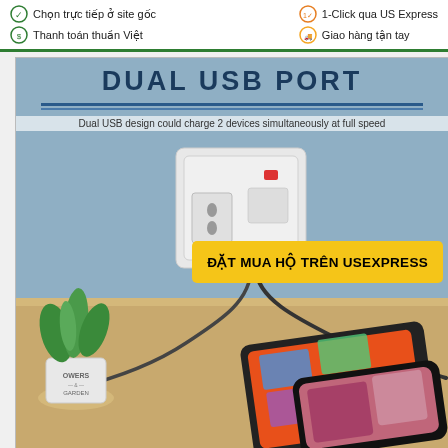Chọn trực tiếp ở site gốc | Thanh toán thuần Việt | 1-Click qua US Express | Giao hàng tận tay
[Figure (photo): Product advertisement image showing a dual USB wall charger plugged into an Australian power outlet, with charging cables connected to a tablet and smartphone on a wooden desk. A plant in a pot labeled 'FLOWERS & GARDEN' is visible. A yellow call-to-action button reads 'ĐẶT MUA HỘ TRÊN USEXPRESS'. Title reads 'DUAL USB PORT' with subtitle 'Dual USB design could charge 2 devices simultaneously at full speed'.]